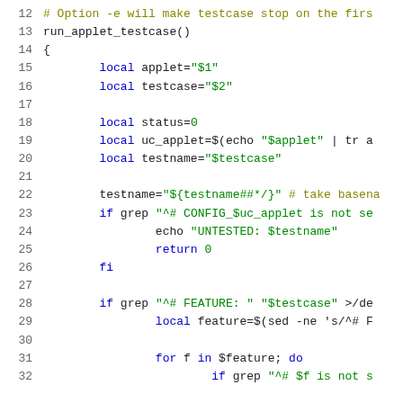Code snippet lines 12-32 showing shell script function run_applet_testcase with local variable declarations, grep checks, and for loop.